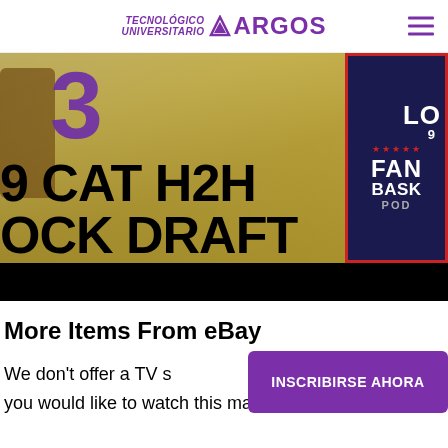TECNOLÓGICO UNIVERSITARIO ARGOS
[Figure (photo): Sports banner showing a basketball player with jersey number 3, alongside a podcast box labeled FAN BASK POD with LO text, overlaid with large text reading '9 CAT H2H OCK DRAFT' (partial, cropped)]
More Items From eBay
We don't offer a TV s
you would like to watch this match
[Figure (other): Purple CTA button reading INSCRIBIRSE AHORA]